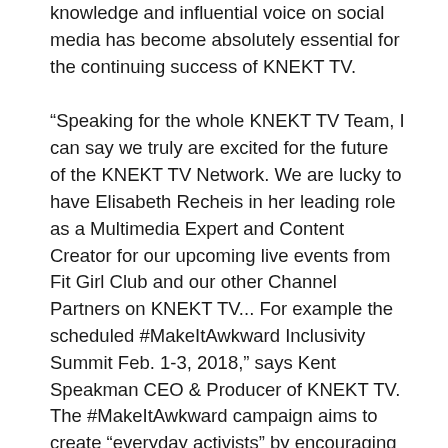knowledge and influential voice on social media has become absolutely essential for the continuing success of KNEKT TV.
“Speaking for the whole KNEKT TV Team, I can say we truly are excited for the future of the KNEKT TV Network. We are lucky to have Elisabeth Recheis in her leading role as a Multimedia Expert and Content Creator for our upcoming live events from Fit Girl Club and our other Channel Partners on KNEKT TV... For example the scheduled #MakeItAwkward Inclusivity Summit Feb. 1-3, 2018,” says Kent Speakman CEO & Producer of KNEKT TV. The #MakeItAwkward campaign aims to create “everyday activists” by encouraging people to confront – respectfully – those who make hateful or racist comments.
KNEKT.tv is focused on improving the world by